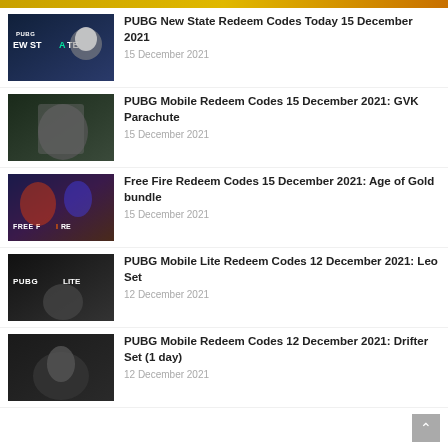[Figure (screenshot): Partial top image strip - game thumbnail cropped]
PUBG New State Redeem Codes Today 15 December 2021
15 December 2021
PUBG Mobile Redeem Codes 15 December 2021: GVK Parachute
15 December 2021
Free Fire Redeem Codes 15 December 2021: Age of Gold bundle
15 December 2021
PUBG Mobile Lite Redeem Codes 12 December 2021: Leo Set
12 December 2021
PUBG Mobile Redeem Codes 12 December 2021: Drifter Set (1 day)
12 December 2021